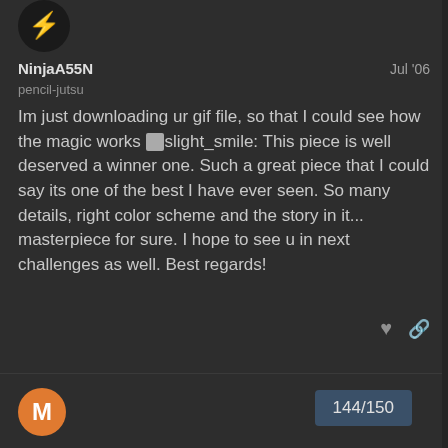[Figure (photo): User avatar circle with dark background and ninja/lightning icon]
NinjaA55N    Jul '06
pencil-jutsu
Im just downloading ur gif file, so that I could see how the magic works :slight_smile: This piece is well deserved a winner one. Such a great piece that I could say its one of the best I have ever seen. So many details, right color scheme and the story in it... masterpiece for sure. I hope to see u in next challenges as well. Best regards!
[Figure (other): Bottom avatar circle with letter M in orange]
144/150